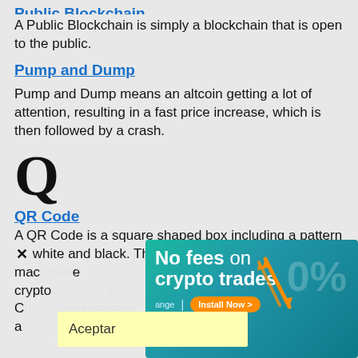Public Blockchain
A Public Blockchain is simply a blockchain that is open to the public.
Pump and Dump
Pump and Dump means an altcoin getting a lot of attention, resulting in a fast price increase, which is then followed by a crash.
Q
QR Code
A QR Code is a square shaped box including a pattern × white and black. The pattern is readable by machines and contains a link to a cryptocurrency exchange. The exchange of QR Codes allows to send and receive asset and ...
[Figure (infographic): Advertisement banner: 'No fees on crypto trades' with orange arrows and 0% text, Install Now button]
Aceptar